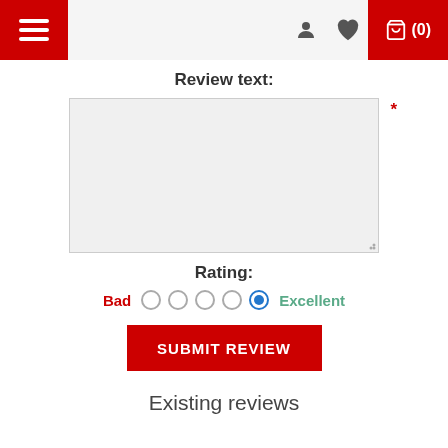Navigation bar with hamburger menu, user icon, wishlist icon, and cart (0)
Review text:
[Text area - required field *]
Rating:
Bad  ○ ○ ○ ○ ● Excellent
SUBMIT REVIEW
Existing reviews